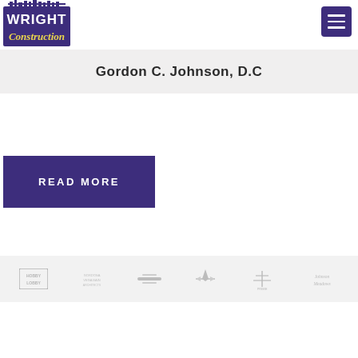[Figure (logo): Wright Construction logo with city skyline silhouette and yellow/white text on blue background]
[Figure (other): Dark purple hamburger menu button with three white horizontal bars]
Gordon C. Johnson, D.C
READ MORE
[Figure (logo): Row of six partner/client logos in grayscale: Hobby Lobby, an architectural firm, a horizontal logo, a rocket/aircraft logo, a tree-like logo, and Johnson Meadows]